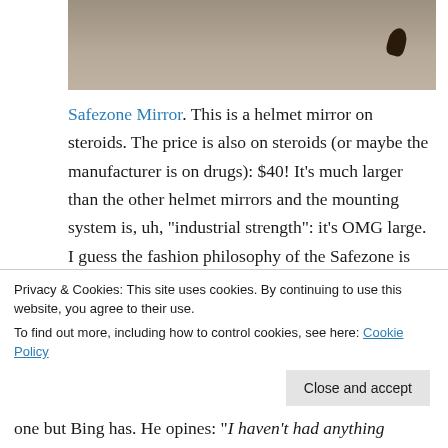[Figure (photo): Partial photo showing a textured grey surface (carpet or fabric) with a dark key or tag visible in the upper right area]
Safezone Mirror. This is a helmet mirror on steroids. The price is also on steroids (or maybe the manufacturer is on drugs): $40! It’s much larger than the other helmet mirrors and the mounting system is, uh, “industrial strength”: it’s OMG large. I guess the fashion philosophy of the Safezone is ‘say it loud, say it proud—I’m FRED!’ You attach the Safezone to your helmet using zip ties, so this one isn’t super-easy to remove.
Privacy & Cookies: This site uses cookies. By continuing to use this website, you agree to their use. To find out more, including how to control cookies, see here: Cookie Policy
one but Bing has. He opines: “I haven’t had anything